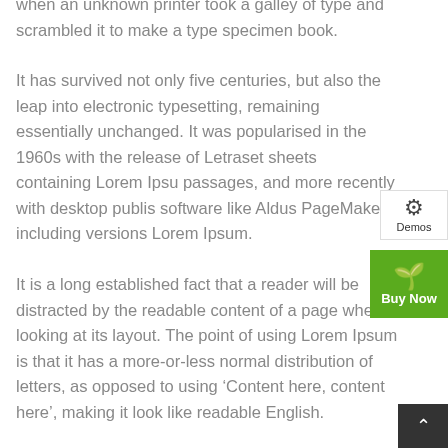when an unknown printer took a galley of type and scrambled it to make a type specimen book.
It has survived not only five centuries, but also the leap into electronic typesetting, remaining essentially unchanged. It was popularised in the 1960s with the release of Letraset sheets containing Lorem Ipsum passages, and more recently with desktop publishing software like Aldus PageMaker including versions of Lorem Ipsum.
It is a long established fact that a reader will be distracted by the readable content of a page when looking at its layout. The point of using Lorem Ipsum is that it has a more-or-less normal distribution of letters, as opposed to using ‘Content here, content here’, making it look like readable English.